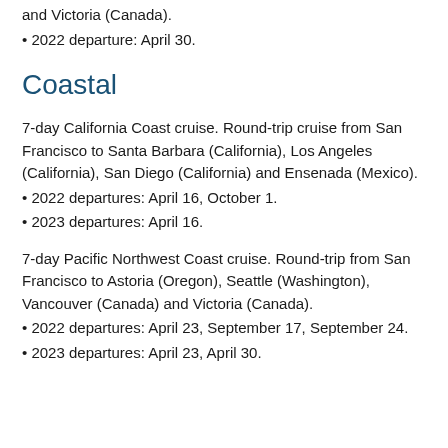and Victoria (Canada).
• 2022 departure: April 30.
Coastal
7-day California Coast cruise. Round-trip cruise from San Francisco to Santa Barbara (California), Los Angeles (California), San Diego (California) and Ensenada (Mexico).
• 2022 departures: April 16, October 1.
• 2023 departures: April 16.
7-day Pacific Northwest Coast cruise. Round-trip from San Francisco to Astoria (Oregon), Seattle (Washington), Vancouver (Canada) and Victoria (Canada).
• 2022 departures: April 23, September 17, September 24.
• 2023 departures: April 23, April 30.